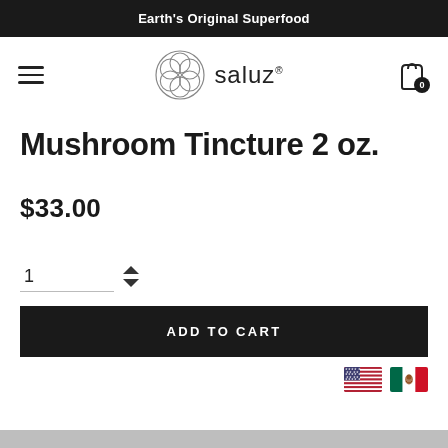Earth's Original Superfood
[Figure (logo): Saluz brand logo with geometric hexagonal flower icon and text 'saluz' with registered trademark symbol]
Mushroom Tincture 2 oz.
$33.00
1
ADD TO CART
[Figure (illustration): US flag and Mexican flag icons]